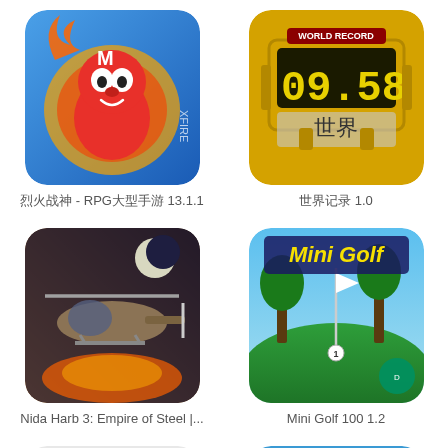[Figure (screenshot): App icon: cartoon red character with flame, RPG game]
烈火战神 - RPG大型手游 13.1.1
[Figure (screenshot): App icon: yellow scoreboard showing 09.58 world record]
世界记录 1.0
[Figure (screenshot): App icon: military helicopter game, Nida Harb 3 Empire of Steel]
Nida Harb 3: Empire of Steel |...
[Figure (screenshot): App icon: Mini Golf 100 game with golf course scene]
Mini Golf 100 1.2
[Figure (screenshot): App icon: Zen Brush painting app with ink brush swirl]
Zen Brush 1.21_GP
[Figure (screenshot): App icon: ippo-ippo app with blue background and walking figure]
ippo-ippo 日本語 3.3.2